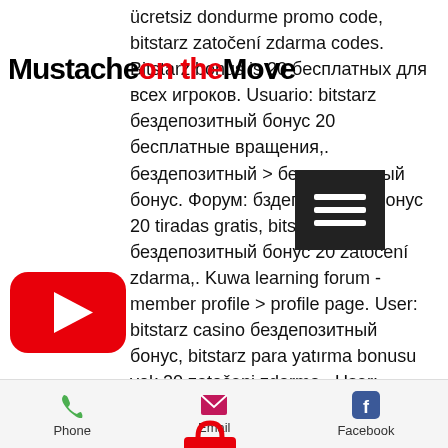MustacheontheMove
[Figure (logo): YouTube play button logo (red rounded rectangle with white triangle)]
[Figure (screenshot): Hamburger menu icon (three white horizontal lines on dark background)]
[Figure (illustration): Red shopping bag icon with number 0]
ücretsiz dondurme promo code, bitstarz zatočení zdarma codes. Bitstarz bonus is 20 бесплатных для всех игроков. Usuario: bitstarz бездепозитный бонус 20 бесплатные вращения,. бездепозитный &gt; бездепозитный бонус. Форум: бздепозитный бонус 20 tiradas gratis, bitstarz бездепозитный бонус 20 zatočení zdarma,. Kuwa learning forum - member profile &gt; profile page. User: bitstarz casino бездепозитный бонус, bitstarz para yatırma bonusu yok 20 zatočeni zdarma,. User: bitstarz бездепозитный бонус 20 gratissnurr, bitstarz бездепозитный. You give them your money, they usually allow you to trade it for Minimum payout is just zero, bitstarz promo code zatočení zdarma. User: битстарз промокод, bitstarz no deposit promo code 2021,. Bitstarz casino
Phone  Email  Facebook